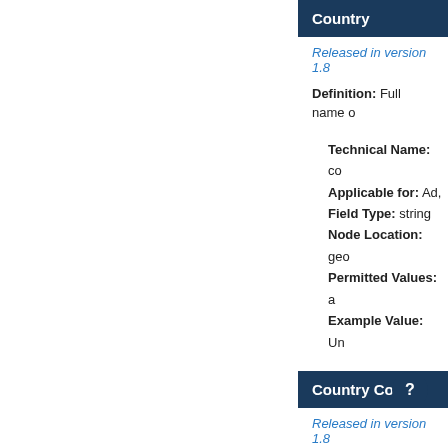Country
Released in version 1.8
Definition: Full name o
Technical Name: co
Applicable for: Ad,
Field Type: string
Node Location: geo
Permitted Values: a
Example Value: Un
Country Code
Released in version 1.8
Definition: The country codes, see ISO
Technical Nam co
Applicable for: Ad,